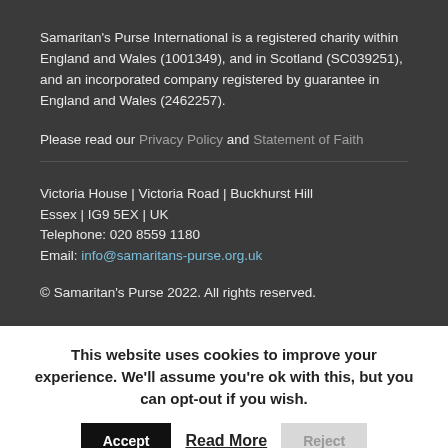Samaritan's Purse International is a registered charity within England and Wales (1001349), and in Scotland (SC039251), and an incorporated company registered by guarantee in England and Wales (2462257).
Please read our Privacy Policy and Statement of Faith
Victoria House | Victoria Road | Buckhurst Hill
Essex | IG9 5EX | UK
Telephone: 020 8559 1180
Email: info@samaritans-purse.org.uk
© Samaritan's Purse 2022. All rights reserved.
This website uses cookies to improve your experience. We'll assume you're ok with this, but you can opt-out if you wish.
Accept  Read More  Reject